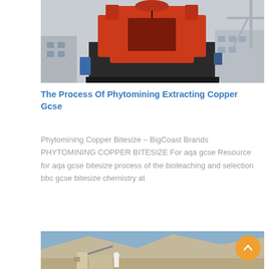[Figure (photo): Industrial mining or crushing machinery — large red/orange mechanical crusher or grabber mounted on black frame, photographed outdoors at an industrial site with buildings and cranes in background.]
The Process Of Phytomining Extracting Copper Gcse
Phytomining Copper Bitesize – BigCoast Brands PHYTOMINING COPPER BITESIZE For aqa gcse Resource for aqa gcse bitesize process of the bioleaching and selection bbc gcse bitesize chemistry at
[Figure (photo): Outdoor mining scene with arid desert mountains in background; construction or mining equipment visible in foreground.]